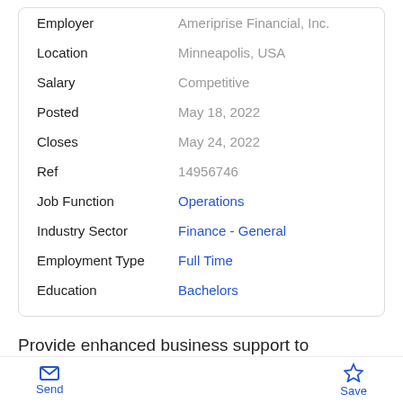| Field | Value |
| --- | --- |
| Employer | Ameriprise Financial, Inc. |
| Location | Minneapolis, USA |
| Salary | Competitive |
| Posted | May 18, 2022 |
| Closes | May 24, 2022 |
| Ref | 14956746 |
| Job Function | Operations |
| Industry Sector | Finance - General |
| Employment Type | Full Time |
| Education | Bachelors |
Provide enhanced business support to Columbia Threadneedle Investment CIO office and various teams within the organization. Participate on projects